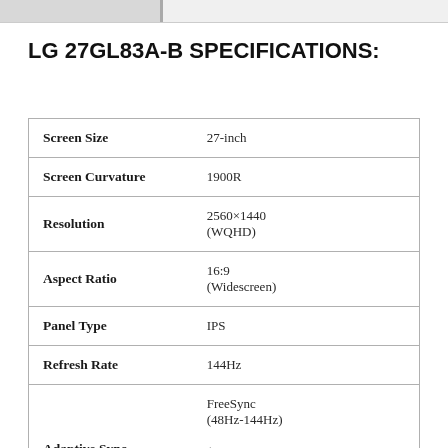LG 27GL83A-B SPECIFICATIONS:
|  |  |
| --- | --- |
| Screen Size | 27-inch |
| Screen Curvature | 1900R |
| Resolution | 2560×1440 (WQHD) |
| Aspect Ratio | 16:9 (Widescreen) |
| Panel Type | IPS |
| Refresh Rate | 144Hz |
| Adaptive Sync | FreeSync (48Hz-144Hz)
(48-100Hz |